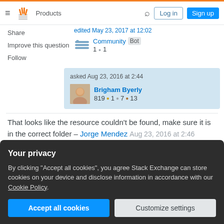≡  Products  🔍  Log in  Sign up
Share
Improve this question
Follow
edited May 23, 2017 at 12:02
Community Bot 1 ● 1
asked Aug 23, 2016 at 2:44
Brigham Byerly 819 ●1 ●7 ●13
That looks like the resource couldn't be found, make sure it is in the correct folder – Jorge Mendez Aug 23, 2016 at 2:46
Your privacy
By clicking "Accept all cookies", you agree Stack Exchange can store cookies on your device and disclose information in accordance with our Cookie Policy.
Accept all cookies
Customize settings